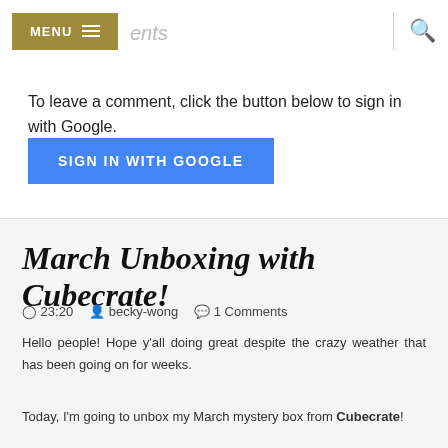MENU  ents
To leave a comment, click the button below to sign in with Google.
[Figure (other): SIGN IN WITH GOOGLE button (blue)]
March Unboxing with Cubecrate!
23:20  becky-wong  1 Comments
Hello people! Hope y'all doing great despite the crazy weather that has been going on for weeks.
Today, I'm going to unbox my March mystery box from Cubecrate!